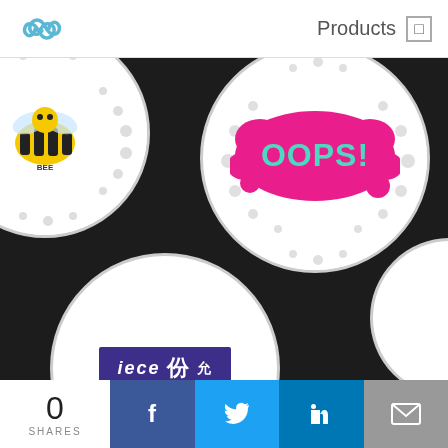Products
[Figure (photo): Multiple round stickers/buttons displayed on a dark background. Left sticker shows a yellow bee graphic, center-top sticker shows 'OOPS!' pop-art text in pink and teal, bottom-center sticker shows a purple label with Chinese/Japanese text, and partial sticker visible on right edge.]
Stickers & Labels
oinPrint offers a range of stickers and labels perfect for all types of functions: whether for recreational or commer
0
SHARES